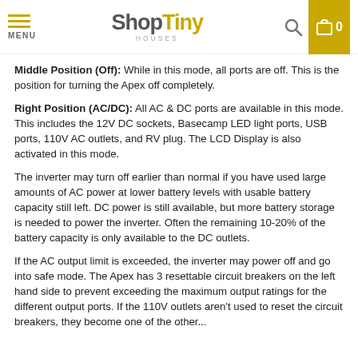MENU | ShopTiny Houses | [search] [cart 0]
Middle Position (Off): While in this mode, all ports are off. This is the position for turning the Apex off completely.
Right Position (AC/DC): All AC & DC ports are available in this mode. This includes the 12V DC sockets, Basecamp LED light ports, USB ports, 110V AC outlets, and RV plug. The LCD Display is also activated in this mode.
The inverter may turn off earlier than normal if you have used large amounts of AC power at lower battery levels with usable battery capacity still left. DC power is still available, but more battery storage is needed to power the inverter. Often the remaining 10-20% of the battery capacity is only available to the DC outlets.
If the AC output limit is exceeded, the inverter may power off and go into safe mode. The Apex has 3 resettable circuit breakers on the left hand side to prevent exceeding the maximum output ratings for the different output ports. If the 110V outlets aren't used to reset the circuit breakers, they become one of the other...